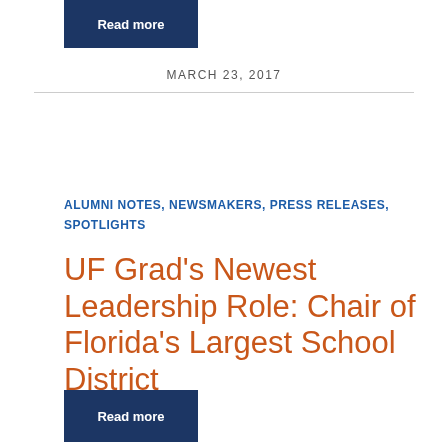[Figure (other): Dark blue 'Read more' button at the top of the page]
MARCH 23, 2017
ALUMNI NOTES, NEWSMAKERS, PRESS RELEASES, SPOTLIGHTS
UF Grad's Newest Leadership Role: Chair of Florida's Largest School District
[Figure (other): Dark blue 'Read more' button at the bottom of the page]